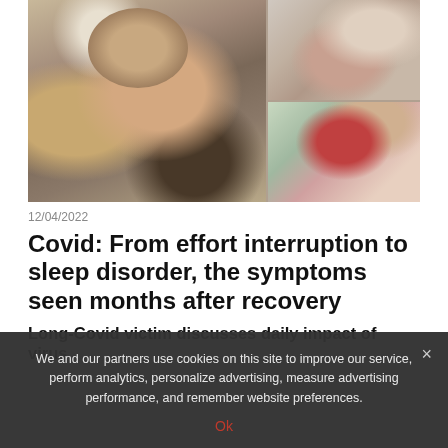[Figure (photo): Photo collage: left side shows a man in white t-shirt sitting pensively with hand on chin; top right shows a woman touching her throat/neck; bottom right shows a woman in red top looking fatigued at a laptop]
12/04/2022
Covid: From effort interruption to sleep disorder, the symptoms seen months after recovery
Long-Covid victim discusses daily impact of virus
We and our partners use cookies on this site to improve our service, perform analytics, personalize advertising, measure advertising performance, and remember website preferences.
Ok